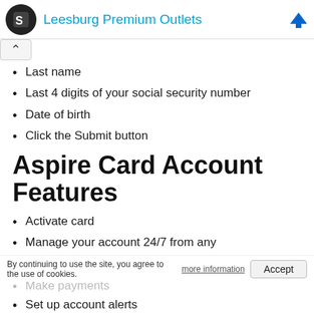Leesburg Premium Outlets
Last name
Last 4 digits of your social security number
Date of birth
Click the Submit button
Aspire Card Account Features
Activate card
Manage your account 24/7 from any
By continuing to use the site, you agree to the use of cookies.
Make payments
Set up account alerts